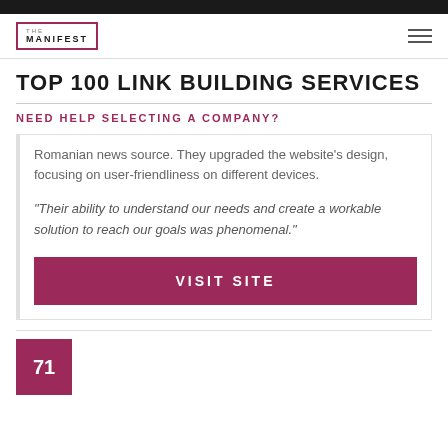THE MANIFEST
TOP 100 LINK BUILDING SERVICES
NEED HELP SELECTING A COMPANY?
Romanian news source. They upgraded the website's design, focusing on user-friendliness on different devices.
"Their ability to understand our needs and create a workable solution to reach our goals was phenomenal."
VISIT SITE
71